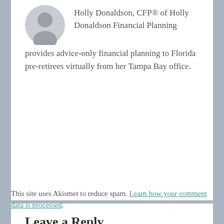[Figure (illustration): Gray silhouette avatar icon of a person]
Holly Donaldson, CFP® of Holly Donaldson Financial Planning provides advice-only financial planning to Florida pre-retirees virtually from her Tampa Bay office.
Leave a Reply
Enter your comment here...
This site uses Akismet to reduce spam. Learn how your comment data is processed.